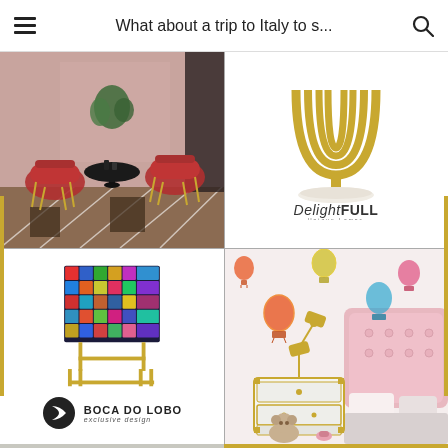What about a trip to Italy to s...
[Figure (photo): Interior design scene with red velvet chairs and a round black table in a pink-toned room with geometric patterned floor]
[Figure (photo): DelightFULL brand lamp product image - gold U-shaped tubular table lamp on white marble base, with DelightFULL Unique Lamps logo below]
[Figure (photo): Boca do Lobo exclusive design colorful mosaic cabinet on gold metal frame, with Boca do Lobo logo below]
[Figure (photo): Children's bedroom with pink tufted headboard, white and gold chest of drawers, gold articulated lamp, and hot air balloon wall decals]